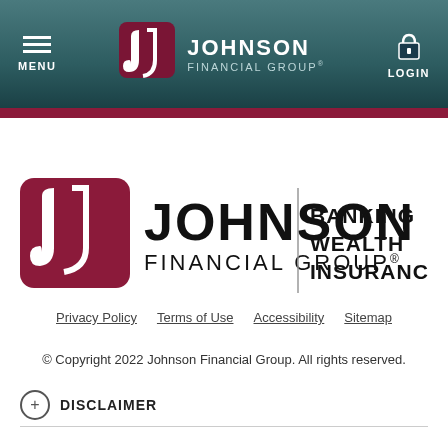[Figure (screenshot): Johnson Financial Group website header navigation bar with hamburger menu icon and MENU label on left, Johnson Financial Group logo in center, and padlock icon with LOGIN label on right, on dark teal/gray gradient background]
[Figure (logo): Johnson Financial Group logo: dark maroon/crimson square icon with stylized J shape on left, JOHNSON FINANCIAL GROUP text in center, vertical divider line, then BANKING WEALTH INSURANCE text on right in bold serif font]
Privacy Policy   Terms of Use   Accessibility   Sitemap
© Copyright 2022 Johnson Financial Group. All rights reserved.
+ DISCLAIMER